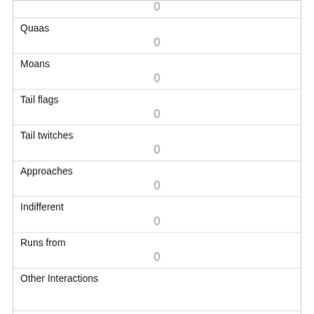| Quaas | 0 |
| Moans | 0 |
| Tail flags | 0 |
| Tail twitches | 0 |
| Approaches | 0 |
| Indifferent | 0 |
| Runs from | 0 |
| Other Interactions |  |
| Lat/Long | POINT (-73.9527430510248 40.7924807950552) |
| Link |  |